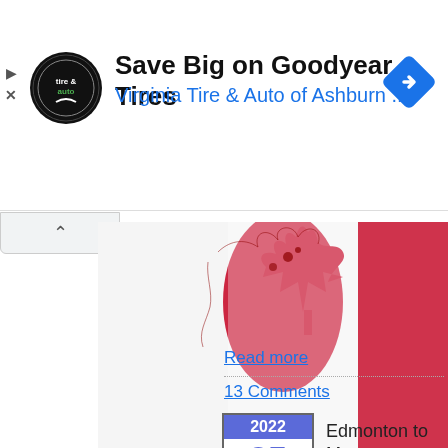[Figure (screenshot): Advertisement banner for Virginia Tire & Auto of Ashburn showing Goodyear Tires promotion with circular logo and blue navigation diamond icon]
Save Big on Goodyear Tires
Virginia Tire & Auto of Ashburn ...
[Figure (photo): Partial image of Canadian map/flag with red maple leaf design on white background]
Read more
13 Comments
[Figure (infographic): Date box showing 2022, 25, April]
Edmonton to Mo... after taxes [non-...